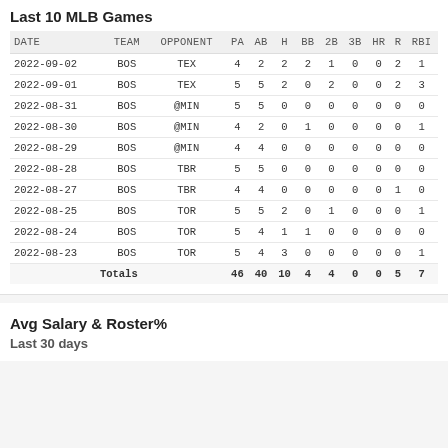Last 10 MLB Games
| DATE | TEAM | OPPONENT | PA | AB | H | BB | 2B | 3B | HR | R | RBI |
| --- | --- | --- | --- | --- | --- | --- | --- | --- | --- | --- | --- |
| 2022-09-02 | BOS | TEX | 4 | 2 | 2 | 2 | 1 | 0 | 0 | 2 | 1 |
| 2022-09-01 | BOS | TEX | 5 | 5 | 2 | 0 | 2 | 0 | 0 | 2 | 3 |
| 2022-08-31 | BOS | @MIN | 5 | 5 | 0 | 0 | 0 | 0 | 0 | 0 | 0 |
| 2022-08-30 | BOS | @MIN | 4 | 2 | 0 | 1 | 0 | 0 | 0 | 0 | 1 |
| 2022-08-29 | BOS | @MIN | 4 | 4 | 0 | 0 | 0 | 0 | 0 | 0 | 0 |
| 2022-08-28 | BOS | TBR | 5 | 5 | 0 | 0 | 0 | 0 | 0 | 0 | 0 |
| 2022-08-27 | BOS | TBR | 4 | 4 | 0 | 0 | 0 | 0 | 0 | 1 | 0 |
| 2022-08-25 | BOS | TOR | 5 | 5 | 2 | 0 | 1 | 0 | 0 | 0 | 1 |
| 2022-08-24 | BOS | TOR | 5 | 4 | 1 | 1 | 0 | 0 | 0 | 0 | 0 |
| 2022-08-23 | BOS | TOR | 5 | 4 | 3 | 0 | 0 | 0 | 0 | 0 | 1 |
| Totals |  |  | 46 | 40 | 10 | 4 | 4 | 0 | 0 | 5 | 7 |
Avg Salary & Roster%
Last 30 days